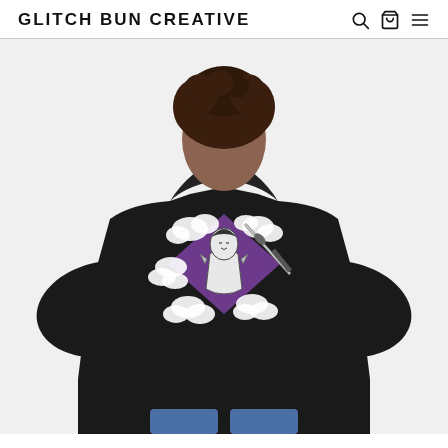GLITCH BUN CREATIVE
[Figure (photo): Product photo showing the back view of a person with curly hair wearing a black hoodie. The hoodie features a graphic print of an anime-style samurai warrior with a sword, surrounded by clouds, set against a purple diamond/square background shape. The model is viewed from behind.]